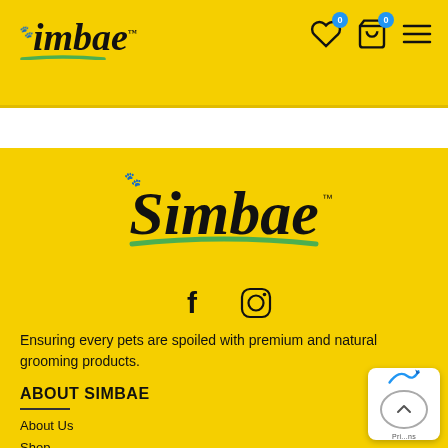Simbae header with logo, wishlist (0), cart (0), and menu icons
[Figure (logo): Simbae brand logo — italic serif 'Simbae' text with paw print and green swoosh underline, centered on yellow background]
[Figure (infographic): Facebook and Instagram social media icons]
Ensuring every pets are spoiled with premium and natural grooming products.
ABOUT SIMBAE
About Us
Shop